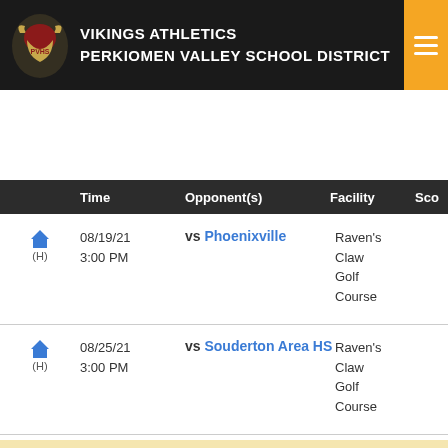VIKINGS ATHLETICS
PERKIOMEN VALLEY SCHOOL DISTRICT
| Time | Opponent(s) | Facility | Score |
| --- | --- | --- | --- |
| 08/19/21 3:00 PM (H) | vs Phoenixville | Raven's Claw Golf Course |  |
| 08/25/21 3:00 PM (H) | vs Souderton Area HS | Raven's Claw Golf Course |  |
| 08/26/21 3:00 PM (A) | vs Upper Perkiomen | Macoby Run GC |  |
| 08/31/21 3:00 PM (A) | vs Methacton HS | Skippack GC |  |